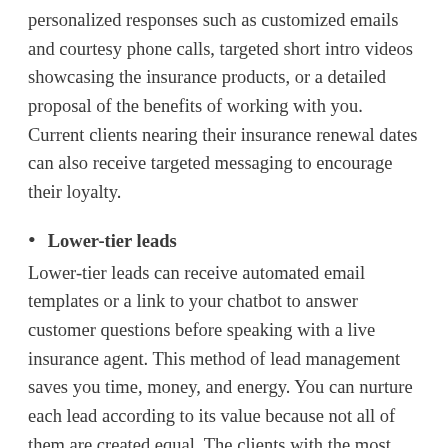personalized responses such as customized emails and courtesy phone calls, targeted short intro videos showcasing the insurance products, or a detailed proposal of the benefits of working with you. Current clients nearing their insurance renewal dates can also receive targeted messaging to encourage their loyalty.
Lower-tier leads
Lower-tier leads can receive automated email templates or a link to your chatbot to answer customer questions before speaking with a live insurance agent. This method of lead management saves you time, money, and energy. You can nurture each lead according to its value because not all of them are created equal. The clients with the most significant long-term potential for your insurance business can take up a more